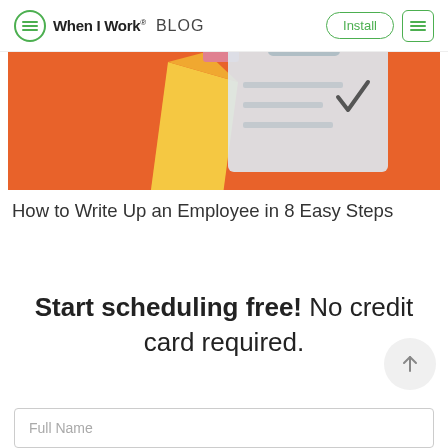When I Work® BLOG
[Figure (illustration): Orange background with pencil and clipboard illustration]
How to Write Up an Employee in 8 Easy Steps
Start scheduling free! No credit card required.
Full Name